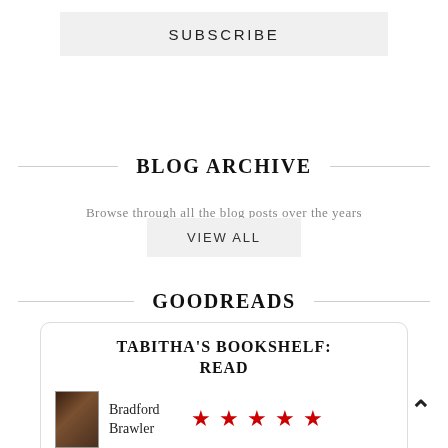SUBSCRIBE
BLOG ARCHIVE
Browse through all the blog posts over the years
VIEW ALL
GOODREADS
TABITHA'S BOOKSHELF: READ
Bradford Brawler ★★★★★